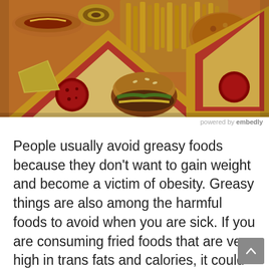[Figure (photo): Close-up photograph of various greasy fast foods including pizza slices with pepperoni, hot dogs, french fries, fried chicken, and hamburgers piled together]
powered by embedly
People usually avoid greasy foods because they don't want to gain weight and become a victim of obesity. Greasy things are also among the harmful foods to avoid when you are sick. If you are consuming fried foods that are very high in trans fats and calories, it could dangerously increase the cholesterol levels in your body.